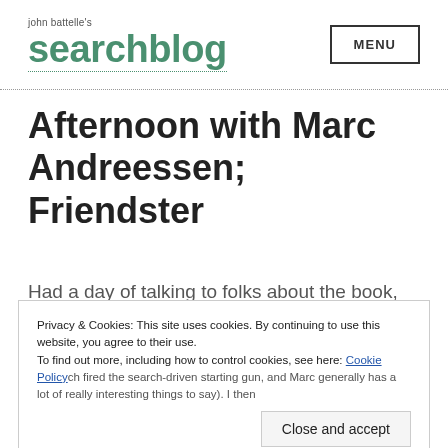john battelle's searchblog
Afternoon with Marc Andreessen; Friendster
Had a day of talking to folks about the book, including lunch with Marc (I've
Privacy & Cookies: This site uses cookies. By continuing to use this website, you agree to their use. To find out more, including how to control cookies, see here: Cookie Policy
book for months as Netscape pretty much fired the search-driven starting gun, and Marc generally has a lot of really interesting things to say). I then